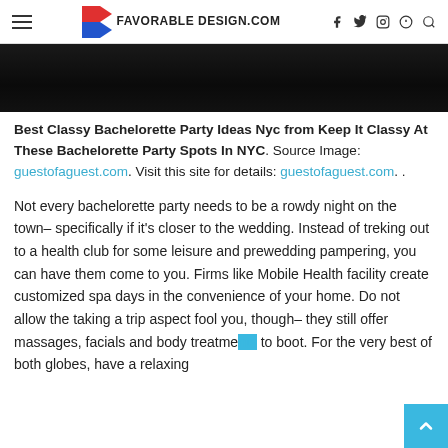FAVORABLE DESIGN.COM
[Figure (photo): Dark/black hero image strip at the top of the article]
Best Classy Bachelorette Party Ideas Nyc from Keep It Classy At These Bachelorette Party Spots In NYC. Source Image: guestofaguest.com. Visit this site for details: guestofaguest.com. .
Not every bachelorette party needs to be a rowdy night on the town– specifically if it's closer to the wedding. Instead of treking out to a health club for some leisure and prewedding pampering, you can have them come to you. Firms like Mobile Health facility create customized spa days in the convenience of your home. Do not allow the taking a trip aspect fool you, though– they still offer massages, facials and body treatments to boot. For the very best of both globes, have a relaxing